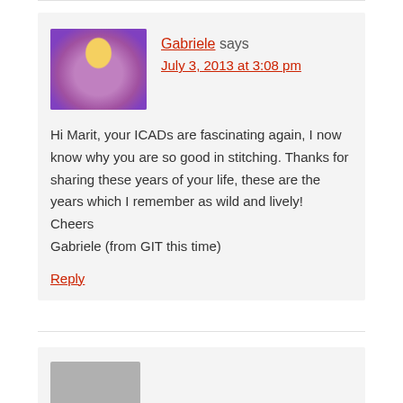Reply
Gabriele says
July 3, 2013 at 3:08 pm
Hi Marit, your ICADs are fascinating again, I now know why you are so good in stitching. Thanks for sharing these years of your life, these are the years which I remember as wild and lively!
Cheers
Gabriele (from GIT this time)
Reply